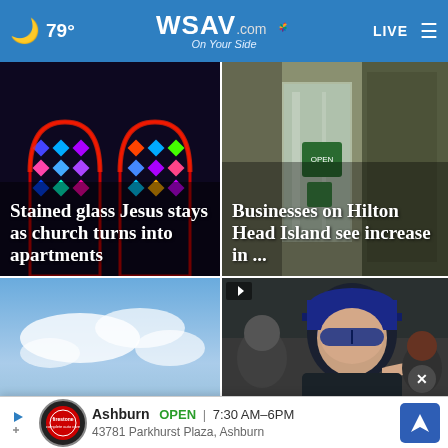🌙 79° WSAV.com On Your Side LIVE ☰
[Figure (photo): Stained glass windows with colorful diamond pattern, blue and purple tones]
Stained glass Jesus stays as church turns into apartments
[Figure (photo): Business storefront with glass doors, reflections visible]
Businesses on Hilton Head Island see increase in ...
[Figure (photo): Sky with clouds and blue water/landscape]
Mo... stu... baptized
[Figure (photo): Police officer in blue cap and sunglasses pointing finger, crowd scene]
...activist... ck
Ashburn  OPEN  7:30 AM–6PM  43781 Parkhurst Plaza, Ashburn